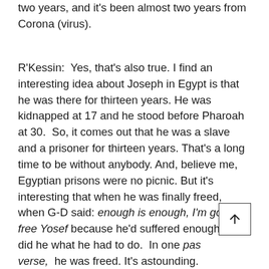two years, and it's been almost two years from Corona (virus).
R'Kessin:  Yes, that's also true. I find an interesting idea about Joseph in Egypt is that he was there for thirteen years. He was kidnapped at 17 and he stood before Pharoah at 30.  So, it comes out that he was a slave and a prisoner for thirteen years. That's a long time to be without anybody. And, believe me, Egyptian prisons were no picnic. But it's interesting that when he was finally freed, when G-D said: enough is enough, I'm going to free Yosef because he'd suffered enough and did he what he had to do.  In one pasuk, one verse,  he was freed. It's astounding. They took him from the pit (prison)